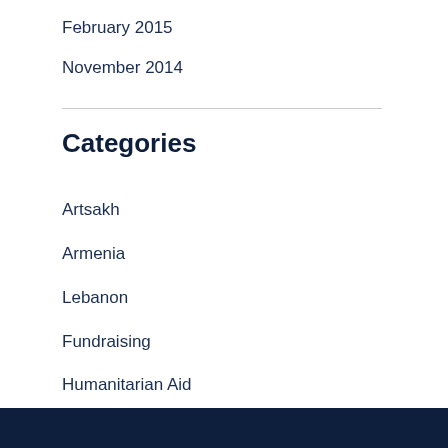February 2015
November 2014
Categories
Artsakh
Armenia
Lebanon
Fundraising
Humanitarian Aid
Uncategorized